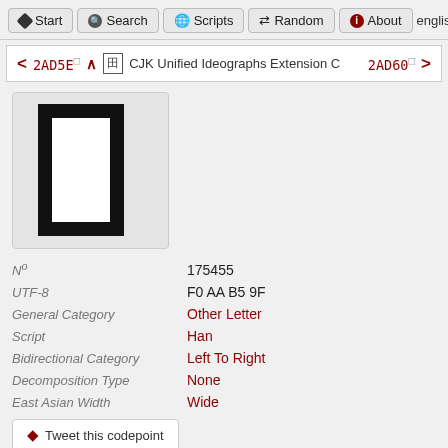Start  Search  Scripts  Random  About  english
< 2AD5E  ^ CJK Unified Ideographs Extension C  2AD60 >
[Figure (other): Large rectangular CJK character glyph rendered as a tall vertical rectangle with thick black border, displayed in a light gray box]
| Nº | 175455 |
| UTF-8 | F0 AA B5 9F |
| General Category | Other Letter |
| Script | Han |
| Bidirectional Category | Left To Right |
| Decomposition Type | None |
| East Asian Width | Wide |
Tweet this codepoint